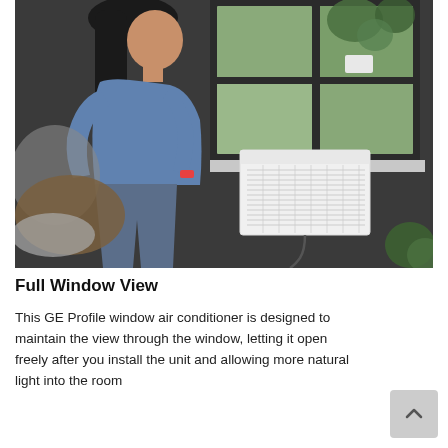[Figure (photo): A woman in a blue t-shirt and jeans stands looking at a white GE Profile window air conditioner mounted on a dark wall below a large black-framed window with green plants visible outside. A fuzzy pillow and chair are partially visible to the left.]
Full Window View
This GE Profile window air conditioner is designed to maintain the view through the window, letting it open freely after you install the unit and allowing more natural light into the room